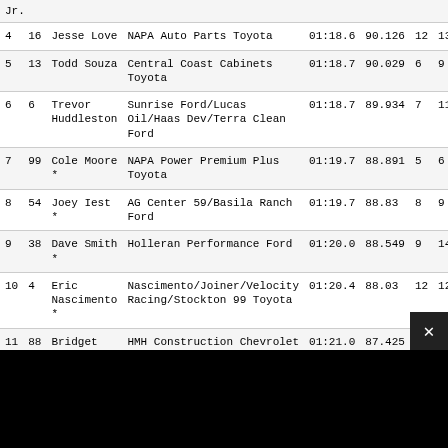| Pos | # | Driver | Car | Time | Speed | Laps | Att |
| --- | --- | --- | --- | --- | --- | --- | --- |
|  |  | Jr. |  |  |  |  |  |
| 4 | 16 | Jesse Love | NAPA Auto Parts Toyota | 01:18.6 | 90.126 | 12 | 13 |
| 5 | 13 | Todd Souza | Central Coast Cabinets Toyota | 01:18.7 | 90.029 | 6 | 9 |
| 6 | 6 | Trevor Huddleston | Sunrise Ford/Lucas Oil/Haas Dev/Terra Clean Ford | 01:18.7 | 89.934 | 7 | 11 |
| 7 | 99 | Cole Moore * | NAPA Power Premium Plus Toyota | 01:19.7 | 88.891 | 5 | 6 |
| 8 | 54 | Joey Iest * | AG Center 59/Basila Ranch Ford | 01:19.7 | 88.83 | 8 | 9 |
| 9 | 38 | Dave Smith * | Holleran Performance Ford | 01:20.0 | 88.549 | 9 | 14 |
| 10 | 4 | Eric Nascimento * | Nascimento/Joiner/Velocity Racing/Stockton 99 Toyota | 01:20.4 | 88.03 | 12 | 12 |
| 11 | 88 | Bridget Burgess | HMH Construction Chevrolet | 01:21.0 | 87.425 | 10 | 10 |
| 12 | 7 | Takuma | Loop Connect Toyota | 01:21.1 | 87.334 | 10 |  |